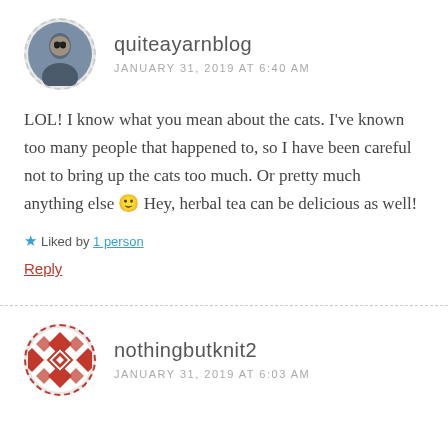quiteayarnblog
JANUARY 31, 2019 AT 6:40 AM
LOL! I know what you mean about the cats. I've known too many people that happened to, so I have been careful not to bring up the cats too much. Or pretty much anything else 🙂 Hey, herbal tea can be delicious as well!
★ Liked by 1 person
Reply
nothingbutknit2
JANUARY 31, 2019 AT 6:03 AM